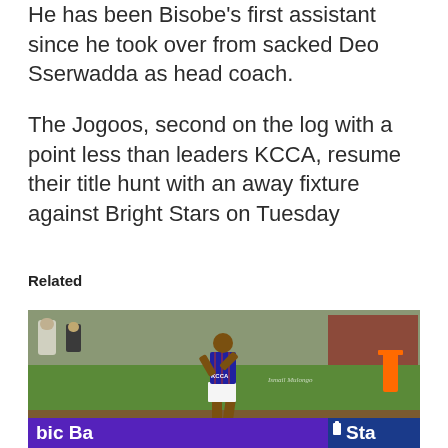He has been Bisobe's first assistant since he took over from sacked Deo Sserwadda as head coach.
The Jogoos, second on the log with a point less than leaders KCCA, resume their title hunt with an away fixture against Bright Stars on Tuesday
Related
[Figure (photo): A football player in a blue and red striped jersey and white shorts celebrating or gesturing on a grass pitch. A purple advertising banner is visible at the bottom of the image with partial text 'bic Ba' on the left and 'Sta' on the right. An orange barrier cone is visible to the right. A watermark is present in the centre of the image.]